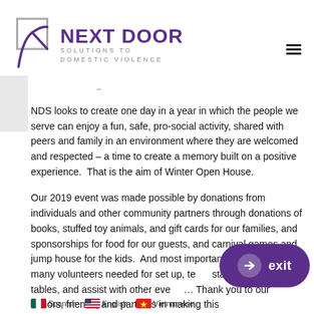[Figure (logo): Next Door Solutions to Domestic Violence logo with purple checkmark/arrow graphic]
NDS looks to create one day in a year in which the people we serve can enjoy a fun, safe, pro-social activity, shared with peers and family in an environment where they are welcomed and respected – a time to create a memory built on a positive experience.  That is the aim of Winter Open House.
Our 2019 event was made possible by donations from individuals and other community partners through donations of books, stuffed toy animals, and gift cards for our families, and sponsorships for food for our guests, and carnival games and jump house for the kids.  And most importantly, the many, many volunteers needed for set up, te… staffing activity tables, and assist with other eve… Thank you to our donors, friends, and partners in making this